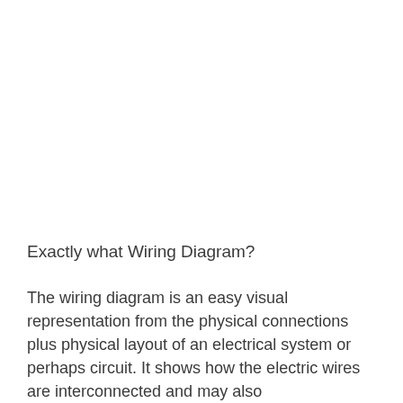Exactly what Wiring Diagram?
The wiring diagram is an easy visual representation from the physical connections plus physical layout of an electrical system or perhaps circuit. It shows how the electric wires are interconnected and may also